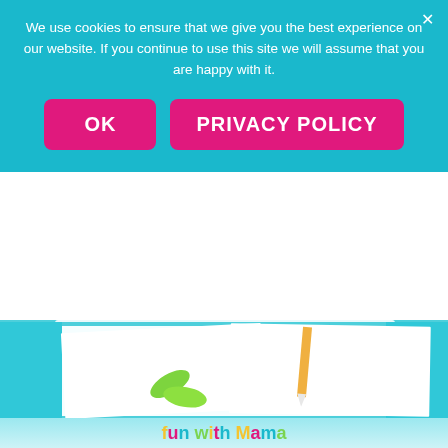We use cookies to ensure that we give you the best experience on our website. If you continue to use this site we will assume that you are happy with it.
OK
PRIVACY POLICY
[Figure (photo): Educational worksheets showing fall/autumn themed activities including cutting practice with scissors and tracing lines with a pencil. Autumn images include sunflowers, pumpkins, leaves, and acorns.]
fun with Mama